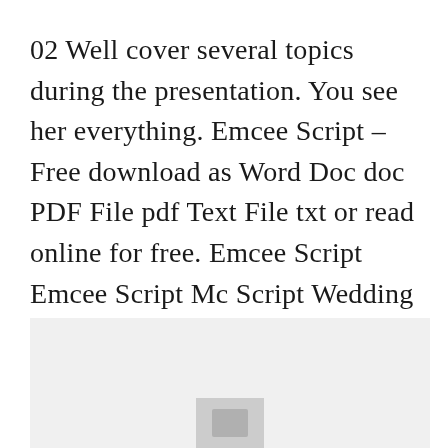02 Well cover several topics during the presentation. You see her everything. Emcee Script - Free download as Word Doc doc PDF File pdf Text File txt or read online for free. Emcee Script Emcee Script Mc Script Wedding Script. Recognition Day Sample script.
[Figure (other): Light gray image placeholder box with a darker gray image icon in the lower center area]